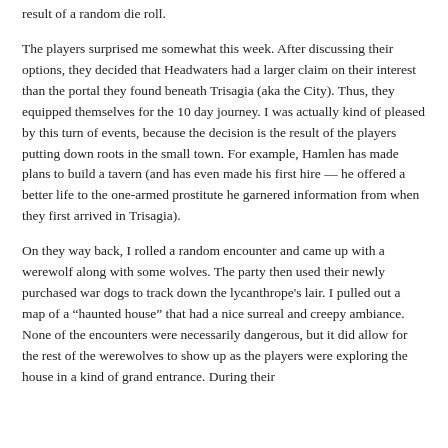result of a random die roll.
The players surprised me somewhat this week. After discussing their options, they decided that Headwaters had a larger claim on their interest than the portal they found beneath Trisagia (aka the City). Thus, they equipped themselves for the 10 day journey. I was actually kind of pleased by this turn of events, because the decision is the result of the players putting down roots in the small town. For example, Hamlen has made plans to build a tavern (and has even made his first hire — he offered a better life to the one-armed prostitute he garnered information from when they first arrived in Trisagia).
On they way back, I rolled a random encounter and came up with a werewolf along with some wolves. The party then used their newly purchased war dogs to track down the lycanthrope's lair. I pulled out a map of a "haunted house" that had a nice surreal and creepy ambiance. None of the encounters were necessarily dangerous, but it did allow for the rest of the werewolves to show up as the players were exploring the house in a kind of grand entrance. During their